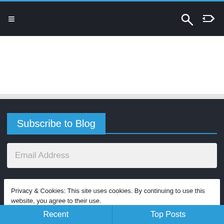≡  🔍  ⇄
[Figure (other): White advertisement/banner area]
Subscribe to Blog
Email Address
Privacy & Cookies: This site uses cookies. By continuing to use this website, you agree to their use.
To find out more, including how to control cookies, see here: Cookie Policy
Close and accept
Recent   Top Posts